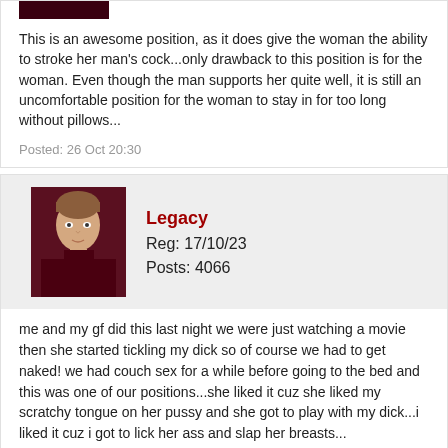[Figure (photo): Partial cropped image at top, dark red/maroon colored strip]
This is an awesome position, as it does give the woman the ability to stroke her man's cock...only drawback to this position is for the woman. Even though the man supports her quite well, it is still an uncomfortable position for the woman to stay in for too long without pillows...
Posted: 26 Oct 20:30
[Figure (photo): Profile avatar of a woman with hair up, wearing dark turtleneck]
Legacy
Reg: 17/10/23
Posts: 4066
me and my gf did this last night we were just watching a movie then she started tickling my dick so of course we had to get naked! we had couch sex for a while before going to the bed and this was one of our positions...she liked it cuz she liked my scratchy tongue on her pussy and she got to play with my dick...i liked it cuz i got to lick her ass and slap her breasts...